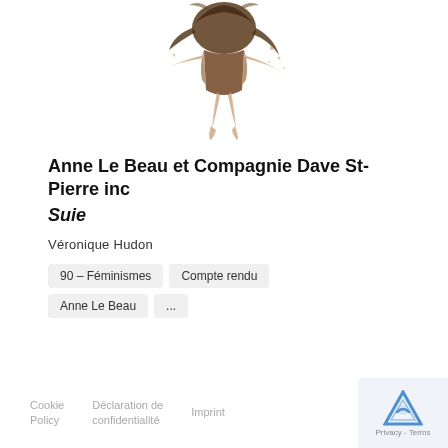[Figure (photo): A dancer photographed from below, falling or floating upside-down with flowing hair and a brown/earth-toned costume against a white background]
Anne Le Beau et Compagnie Dave St-Pierre inc
Suie
Véronique Hudon
90 – Féminismes
Compte rendu
Anne Le Beau
...
Cookie Policy   Déclaration de confidentialité   Imprint